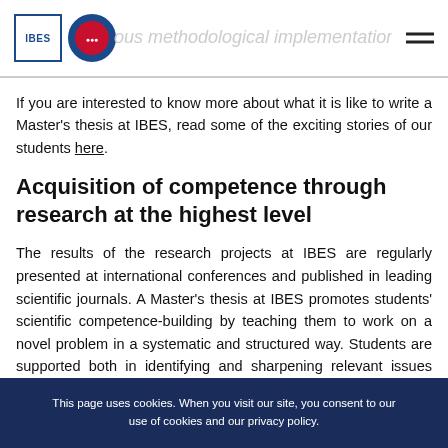ous methodological implementation
If you are interested to know more about what it is like to write a Master's thesis at IBES, read some of the exciting stories of our students here.
Acquisition of competence through research at the highest level
The results of the research projects at IBES are regularly presented at international conferences and published in leading scientific journals. A Master's thesis at IBES promotes students' scientific competence-building by teaching them to work on a novel problem in a systematic and structured way. Students are supported both in identifying and sharpening relevant issues from science and business
This page uses cookies. When you visit our site, you consent to our use of cookies and our privacy policy.